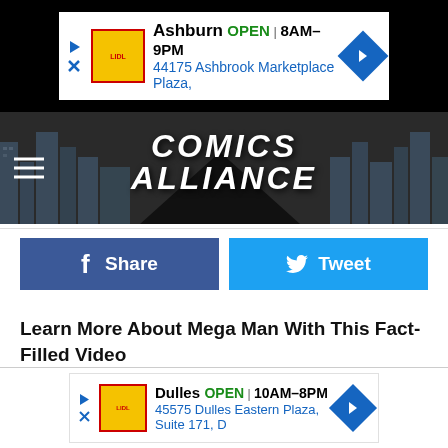[Figure (screenshot): Advertisement banner: Ashburn OPEN 8AM-9PM, 44175 Ashbrook Marketplace Plaza, with navigation arrow]
[Figure (logo): Comics Alliance website logo with cityscape background and hamburger menu]
[Figure (screenshot): Facebook Share button (dark blue) and Twitter Tweet button (light blue)]
Learn More About Mega Man With This Fact-Filled Video
[Figure (screenshot): Advertisement banner: Dulles OPEN 10AM-8PM, 45575 Dulles Eastern Plaza, Suite 171, D, with navigation arrow]